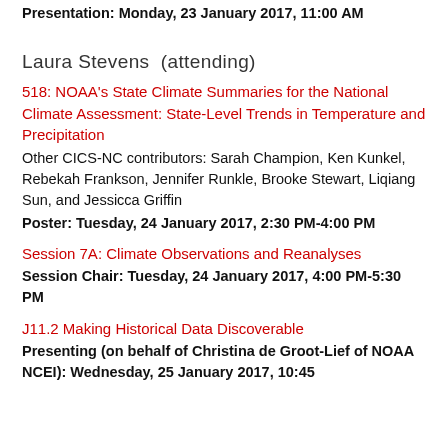Presentation: Monday, 23 January 2017, 11:00 AM
Laura Stevens  (attending)
518: NOAA's State Climate Summaries for the National Climate Assessment: State-Level Trends in Temperature and Precipitation
Other CICS-NC contributors: Sarah Champion, Ken Kunkel, Rebekah Frankson, Jennifer Runkle, Brooke Stewart, Liqiang Sun, and Jessicca Griffin
Poster: Tuesday, 24 January 2017, 2:30 PM-4:00 PM
Session 7A: Climate Observations and Reanalyses
Session Chair: Tuesday, 24 January 2017, 4:00 PM-5:30 PM
J11.2 Making Historical Data Discoverable
Presenting (on behalf of Christina de Groot-Lief of NOAA NCEI): Wednesday, 25 January 2017, 10:45